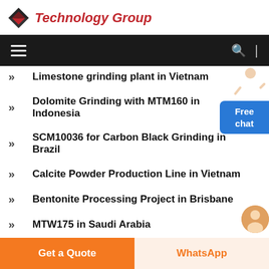Technology Group
Limestone grinding plant in Vietnam
Dolomite Grinding with MTM160 in Indonesia
SCM10036 for Carbon Black Grinding in Brazil
Calcite Powder Production Line in Vietnam
Bentonite Processing Project in Brisbane
MTW175 in Saudi Arabia
Barite Powder Project with Capacity 110,000...
Get a Quote | WhatsApp